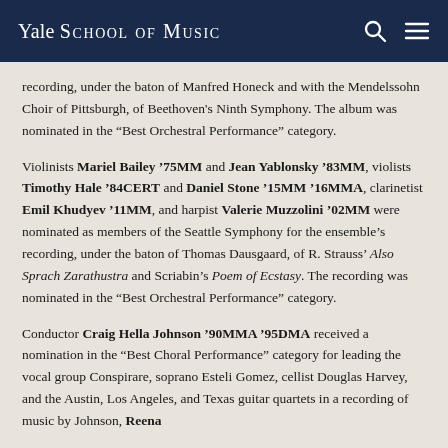Yale School of Music
recording, under the baton of Manfred Honeck and with the Mendelssohn Choir of Pittsburgh, of Beethoven's Ninth Symphony. The album was nominated in the “Best Orchestral Performance” category.
Violinists Mariel Bailey ’75MM and Jean Yablonsky ’83MM, violists Timothy Hale ’84CERT and Daniel Stone ’15MM ’16MMA, clarinetist Emil Khudyev ’11MM, and harpist Valerie Muzzolini ’02MM were nominated as members of the Seattle Symphony for the ensemble’s recording, under the baton of Thomas Dausgaard, of R. Strauss’ Also Sprach Zarathustra and Scriabin’s Poem of Ecstasy. The recording was nominated in the “Best Orchestral Performance” category.
Conductor Craig Hella Johnson ’90MMA ’95DMA received a nomination in the “Best Choral Performance” category for leading the vocal group Conspirare, soprano Esteli Gomez, cellist Douglas Harvey, and the Austin, Los Angeles, and Texas guitar quartets in a recording of music by Johnson, Reena